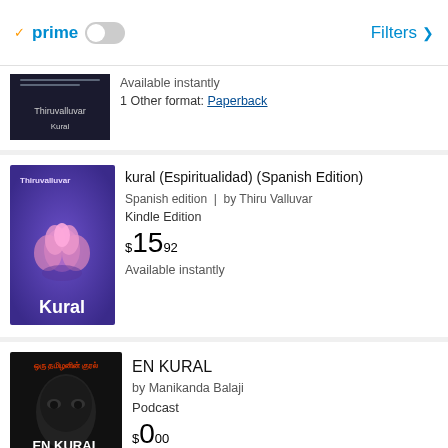prime  Filters
Available instantly
1 Other format: Paperback
kural (Espiritualidad) (Spanish Edition)
Spanish edition  |  by Thiru Valluvar
Kindle Edition
$15.92
Available instantly
EN KURAL
by Manikanda Balaji
Podcast
$0.00